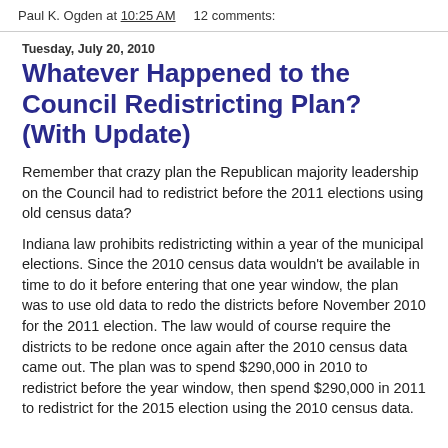Paul K. Ogden at 10:25 AM   12 comments:
Tuesday, July 20, 2010
Whatever Happened to the Council Redistricting Plan? (With Update)
Remember that crazy plan the Republican majority leadership on the Council had to redistrict before the 2011 elections using old census data?
Indiana law prohibits redistricting within a year of the municipal elections. Since the 2010 census data wouldn't be available in time to do it before entering that one year window, the plan was to use old data to redo the districts before November 2010 for the 2011 election. The law would of course require the districts to be redone once again after the 2010 census data came out. The plan was to spend $290,000 in 2010 to redistrict before the year window, then spend $290,000 in 2011 to redistrict for the 2015 election using the 2010 census data.